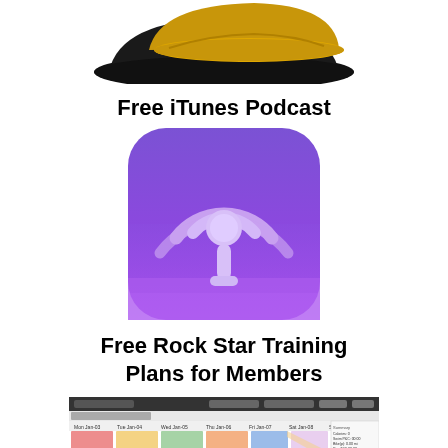[Figure (photo): Two baseball caps stacked, one black and one yellow/gold, photographed against a white background. Only the bottom portion of the caps is visible as the image is cropped at the top.]
Free iTunes Podcast
[Figure (logo): Apple iTunes/Podcasts app icon: a rounded-square button with a purple-to-violet gradient background featuring the podcast signal/antenna icon (concentric arcs above a circle with a vertical stem) in light lavender/white.]
Free Rock Star Training Plans for Members
[Figure (screenshot): Screenshot of a calendar application showing a monthly training schedule view with colored event blocks across multiple days, with a dark title bar and navigation controls.]